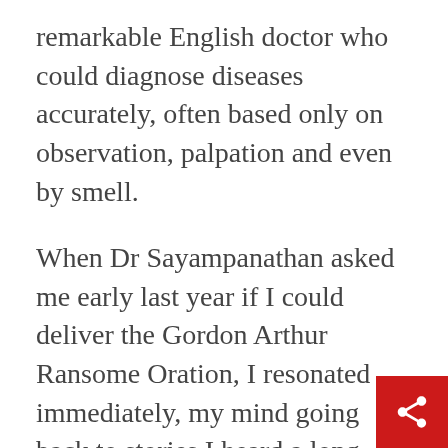remarkable English doctor who could diagnose diseases accurately, often based only on observation, palpation and even by smell.
When Dr Sayampanathan asked me early last year if I could deliver the Gordon Arthur Ransome Oration, I resonated immediately, my mind going back to stories I heard a long time ago. I thank the Singapore Academy of Medicine for giving me this signal honour.
This Oration was originally planned to be held in Hong Kong last December in conjunction with an event co-organised by the Academies of Medicine of Singapore, Malaysia and Hong Kong. Unfortunately, that event had to be cancelled